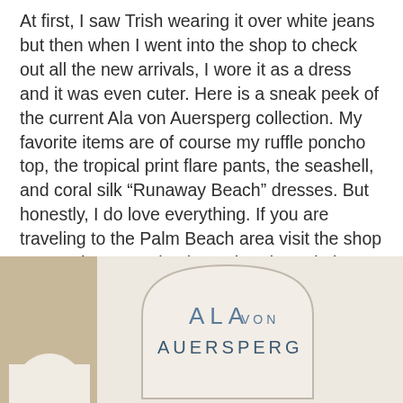At first, I saw Trish wearing it over white jeans but then when I went into the shop to check out all the new arrivals, I wore it as a dress and it was even cuter. Here is a sneak peek of the current Ala von Auersperg collection. My favorite items are of course my ruffle poncho top, the tropical print flare pants, the seashell, and coral silk “Runaway Beach” dresses. But honestly, I do love everything. If you are traveling to the Palm Beach area visit the shop on Worth Ave or check out the Ala Website, HERE.
[Figure (photo): Photograph of the exterior of the Ala von Auersperg shop showing a white arched sign reading 'ALA VON AUERSPERG' in navy/blue lettering, set against a warm beige stucco wall with an arch doorway to the left and a white wall with a door to the right.]